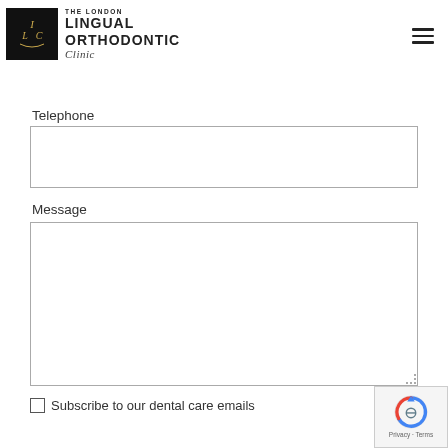[Figure (logo): The London Lingual Orthodontic Clinic logo — black square with stylized ILC initials in gold, followed by clinic name text]
Telephone
Message
Subscribe to our dental care emails
[Figure (other): Google reCAPTCHA badge with Privacy - Terms text]